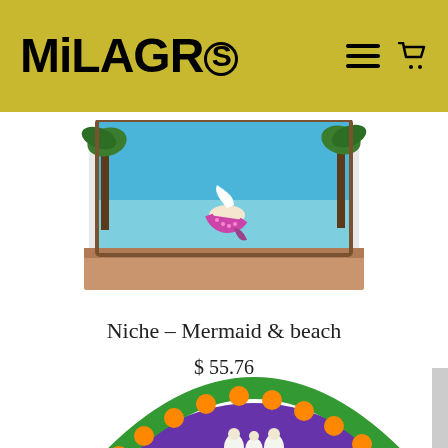MiLAGROS
[Figure (photo): A colorful handmade niche/shadow box depicting a mermaid on a beach scene with tropical palm trees, blue sky background, and sandy brown base.]
Niche – Mermaid & beach
$ 55.76
[Figure (photo): Partially visible circular decorative folk art piece with green, orange, and purple colors featuring small figurines, viewed from above.]